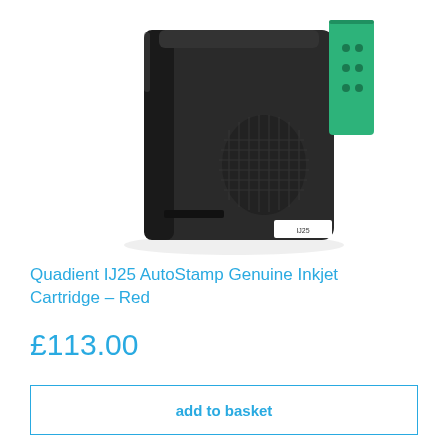[Figure (photo): Photo of a Quadient IJ25 AutoStamp ink cartridge — a black rectangular cartridge body with a green label/tab on the right side and a small white label on the bottom right corner]
Quadient IJ25 AutoStamp Genuine Inkjet Cartridge – Red
£113.00
add to basket